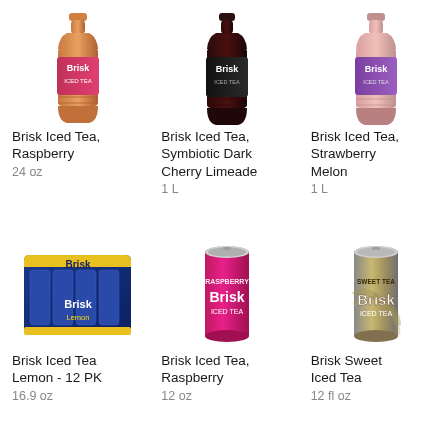[Figure (photo): Brisk Iced Tea Raspberry 24 oz bottle - pink/orange colored bottle with Brisk label]
Brisk Iced Tea, Raspberry
24 oz
[Figure (photo): Brisk Iced Tea Symbiotic Dark Cherry Limeade 1L bottle - dark colored bottle with black Brisk label]
Brisk Iced Tea, Symbiotic Dark Cherry Limeade
1 L
[Figure (photo): Brisk Iced Tea Strawberry Melon 1L bottle - light pink colored bottle with colorful Brisk label]
Brisk Iced Tea, Strawberry Melon
1 L
[Figure (photo): Brisk Iced Tea Lemon 12 PK - 12-pack of 16.9oz cans in blue/yellow packaging]
Brisk Iced Tea Lemon - 12 PK
16.9 oz
[Figure (photo): Brisk Iced Tea Raspberry 12 oz can - bright pink can with Brisk Iced Tea label]
Brisk Iced Tea, Raspberry
12 oz
[Figure (photo): Brisk Sweet Iced Tea 12 fl oz can - silver/gold can with Brisk label]
Brisk Sweet Iced Tea
12 fl oz